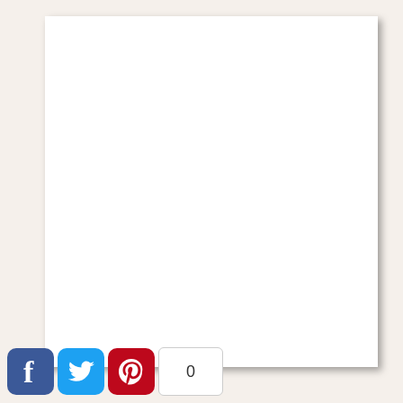[Figure (other): Blank white document page with drop shadow, displayed against a light beige background. Social media sharing buttons (Facebook, Twitter, Pinterest) and a share count of 0 appear at the bottom left.]